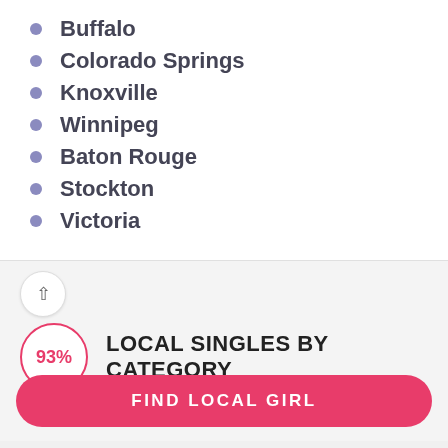Buffalo
Colorado Springs
Knoxville
Winnipeg
Baton Rouge
Stockton
Victoria
LOCAL SINGLES BY CATEGORY
Gay Sugar Daddy   Sugar daddy Canada
FIND LOCAL GIRL